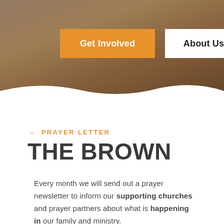[Figure (photo): Hero banner showing people in a church or gathering setting, warm brown and amber tones, with two navigation buttons overlay: 'Get Involved' (orange background, white text) and 'About Us' (white background, dark text)]
– PRAYER LETTER
THE BROWN
Every month we will send out a prayer newsletter to inform our supporting churches and prayer partners about what is happening in our family and ministry.